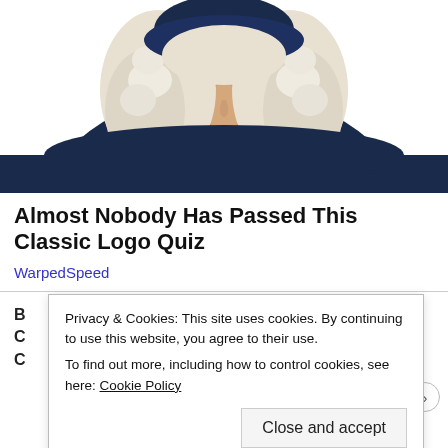[Figure (illustration): Illustrated portrait of a colonial-era or KFC Colonel Sanders-style figure with white powdered wig, navy blue coat, and white cravat/jabot, cropped to show head and upper torso against white background.]
Almost Nobody Has Passed This Classic Logo Quiz
WarpedSpeed
Privacy & Cookies: This site uses cookies. By continuing to use this website, you agree to their use.
To find out more, including how to control cookies, see here: Cookie Policy
Close and accept